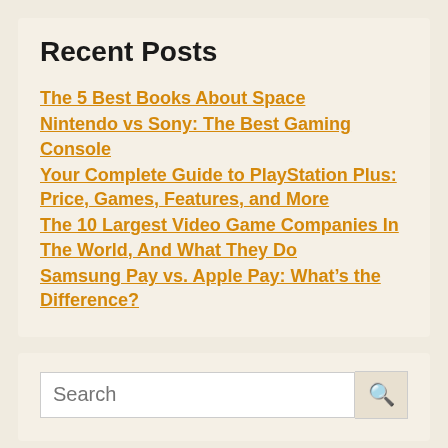Recent Posts
The 5 Best Books About Space
Nintendo vs Sony: The Best Gaming Console
Your Complete Guide to PlayStation Plus: Price, Games, Features, and More
The 10 Largest Video Game Companies In The World, And What They Do
Samsung Pay vs. Apple Pay: What’s the Difference?
Search